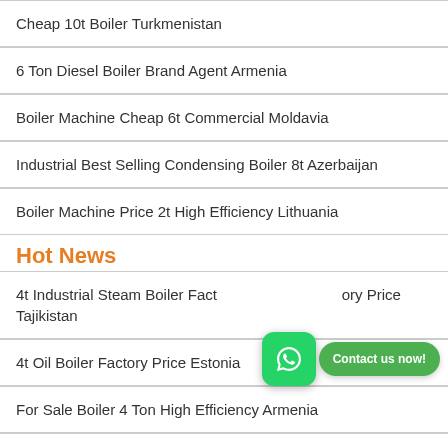Cheap 10t Boiler Turkmenistan
6 Ton Diesel Boiler Brand Agent Armenia
Boiler Machine Cheap 6t Commercial Moldavia
Industrial Best Selling Condensing Boiler 8t Azerbaijan
Boiler Machine Price 2t High Efficiency Lithuania
Hot News
4t Industrial Steam Boiler Factory Price Tajikistan
4t Oil Boiler Factory Price Estonia
For Sale Boiler 4 Ton High Efficiency Armenia
Commercial 20t Diesel Fired Boiler Machine Supplier